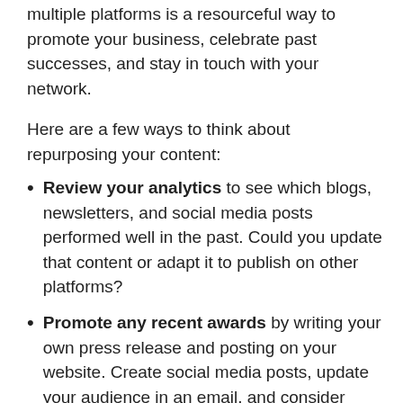multiple platforms is a resourceful way to promote your business, celebrate past successes, and stay in touch with your network.
Here are a few ways to think about repurposing your content:
Review your analytics to see which blogs, newsletters, and social media posts performed well in the past. Could you update that content or adapt it to publish on other platforms?
Promote any recent awards by writing your own press release and posting on your website. Create social media posts, update your audience in an email, and consider adding the honor to your LinkedIn profile or email signature.
Maximize your positive media wins by, again, turning the feature into content for all of your public